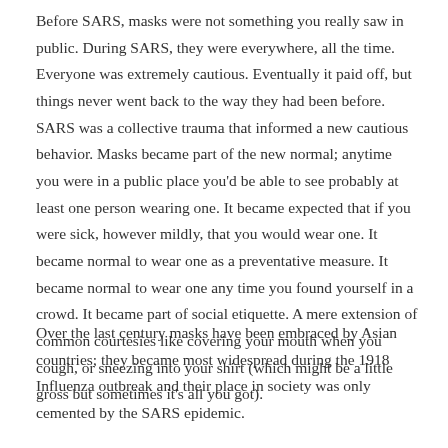Before SARS, masks were not something you really saw in public. During SARS, they were everywhere, all the time. Everyone was extremely cautious. Eventually it paid off, but things never went back to the way they had been before. SARS was a collective trauma that informed a new cautious behavior. Masks became part of the new normal; anytime you were in a public place you'd be able to see probably at least one person wearing one. It became expected that if you were sick, however mildly, that you would wear one. It became normal to wear one as a preventative measure. It became normal to wear one any time you found yourself in a crowd. It became part of social etiquette. A mere extension of common courtesies like covering your mouth when you cough, or sneezing into your shirt (which might be a little gross but sometimes it's all you got).
Over the last century masks have been embraced by Asian countries; they became most widespread during the 1918 Influenza outbreak and their place in society was only cemented by the SARS epidemic.